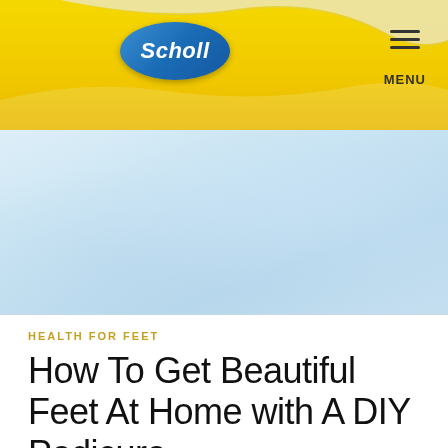[Figure (logo): Scholl brand logo on yellow gradient header banner with silver wave decoration and hamburger menu icon labeled MENU on the right]
[Figure (photo): Light blue/grey gradient hero image area, likely showing feet or a pedicure scene]
HEALTH FOR FEET
How To Get Beautiful Feet At Home with A DIY Pedicure
by Laura Conlan on